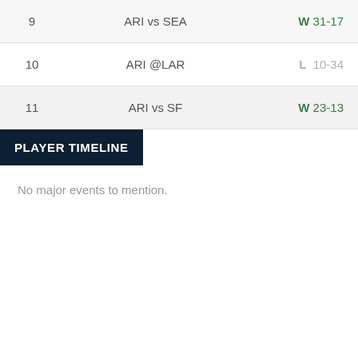| Week | Matchup | Result |
| --- | --- | --- |
| 9 | ARI vs SEA | W 31-17 |
| 10 | ARI @LAR | L 10-34 |
| 11 | ARI vs SF | W 23-13 |
PLAYER TIMELINE
No major events to mention.